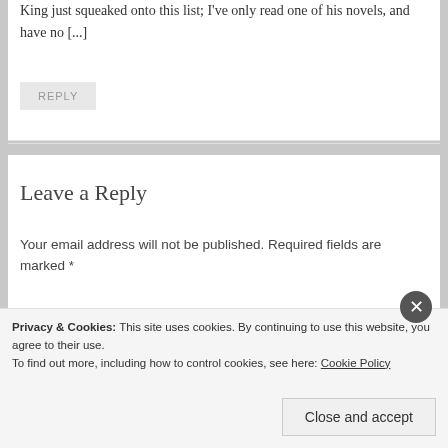King just squeaked onto this list; I've only read one of his novels, and have no [...]
REPLY
Leave a Reply
Your email address will not be published. Required fields are marked *
Comment *
Privacy & Cookies: This site uses cookies. By continuing to use this website, you agree to their use.
To find out more, including how to control cookies, see here: Cookie Policy
Close and accept